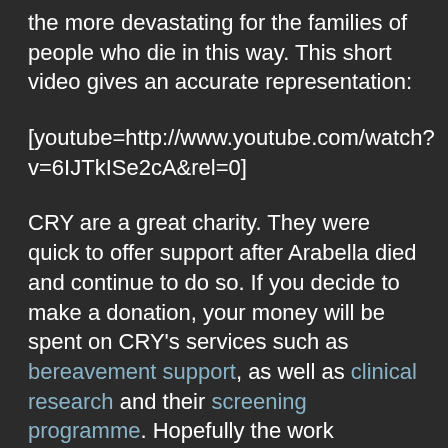the more devastating for the families of people who die in this way. This short video gives an accurate representation:
[youtube=http://www.youtube.com/watch?v=6IJTkISe2cA&rel=0]
CRY are a great charity. They were quick to offer support after Arabella died and continue to do so. If you decide to make a donation, your money will be spent on CRY's services such as bereavement support, as well as clinical research and their screening programme. Hopefully the work supported by CRY will someday reveal the mysteries of sudden adult deaths like Arabella's.
I'm not the only one doing things to raise money. For starters I will be running the marathon with Rosie's sister, Amy. Amy's husband Peter will be walking 100km from London to Brighton in May. Rosie did